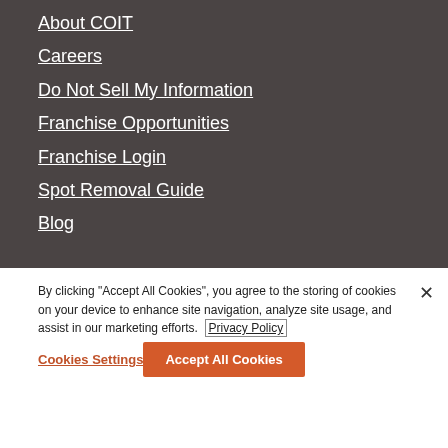About COIT
Careers
Do Not Sell My Information
Franchise Opportunities
Franchise Login
Spot Removal Guide
Blog
By clicking "Accept All Cookies", you agree to the storing of cookies on your device to enhance site navigation, analyze site usage, and assist in our marketing efforts. Privacy Policy
Cookies Settings
Accept All Cookies